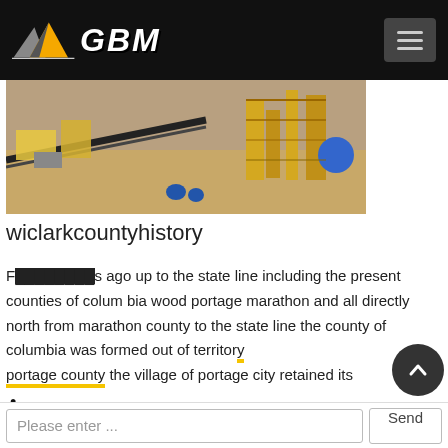GBM
[Figure (photo): Aerial view of a large mining processing facility with conveyor belts, yellow industrial structures, and equipment on a dry earthen site.]
wiclarkcountyhistory
F████████s ago up to the state line including the present counties of colum bia wood portage marathon and all directly north from marathon county to the state line the county of columbia was formed out of territory portage county the village of portage city retained its name but the new county was named columbia and thus i
Please enter ...